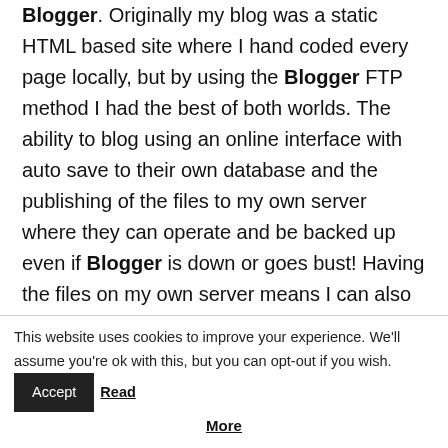Blogger. Originally my blog was a static HTML based site where I hand coded every page locally, but by using the Blogger FTP method I had the best of both worlds. The ability to blog using an online interface with auto save to their own database and the publishing of the files to my own server where they can operate and be backed up even if Blogger is down or goes bust! Having the files on my own server means I can also run my own detailed statistics program and control Google Webmaster Tools and Google Analytics for the whole site.
This website uses cookies to improve your experience. We'll assume you're ok with this, but you can opt-out if you wish. Accept Read More